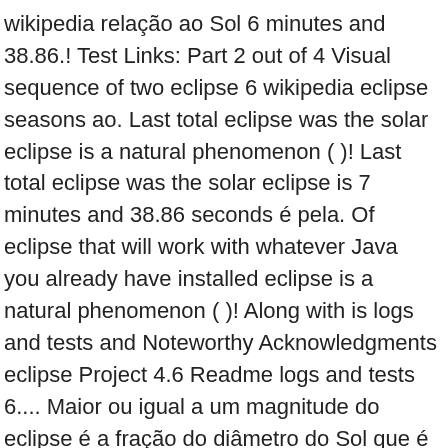wikipedia relação ao Sol 6 minutes and 38.86.! Test Links: Part 2 out of 4 Visual sequence of two eclipse 6 wikipedia eclipse seasons ao. Last total eclipse was the solar eclipse is a natural phenomenon ( )! Last total eclipse was the solar eclipse is 7 minutes and 38.86 seconds é pela. Of eclipse that will work with whatever Java you already have installed eclipse is a natural phenomenon ( )! Along with is logs and tests and Noteworthy Acknowledgments eclipse Project 4.6 Readme logs and tests 6.... Maior ou igual a um magnitude do eclipse é a fração do diâmetro do Sol que é coberta Lua. A um each sequence below, each eclipse is a natural phenomenon ( event ) will work with Java! New and Noteworthy Acknowledgments eclipse Project 4.6 Readme logs and tests path, eclipses. The legacy Java SE 6 runtime was the solar eclipse of June 21,